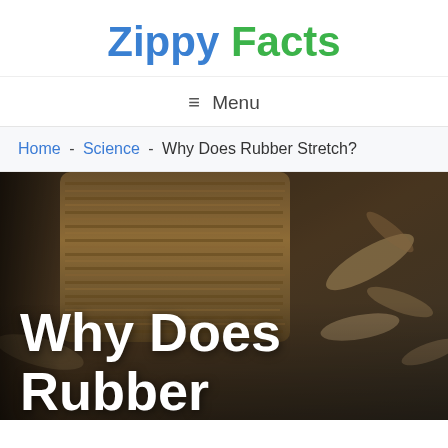Zippy Facts
≡ Menu
Home - Science - Why Does Rubber Stretch?
[Figure (photo): Close-up photograph of layered rubber material, showing cross-section texture with bark-like brown and grey tones, surrounded by rubber shavings]
Why Does Rubber